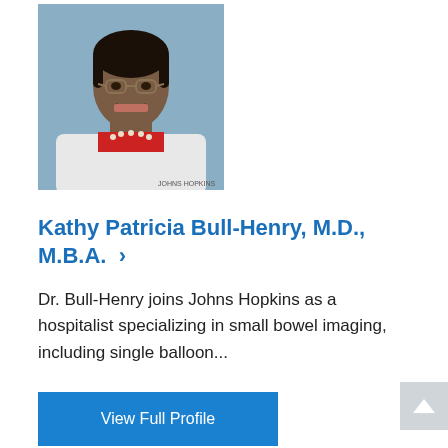[Figure (photo): Professional headshot of Dr. Kathy Patricia Bull-Henry wearing white coat, glasses, and pearl necklace against a blue-grey background]
Kathy Patricia Bull-Henry, M.D., M.B.A. >
Dr. Bull-Henry joins Johns Hopkins as a hospitalist specializing in small bowel imaging, including single balloon...
View Full Profile